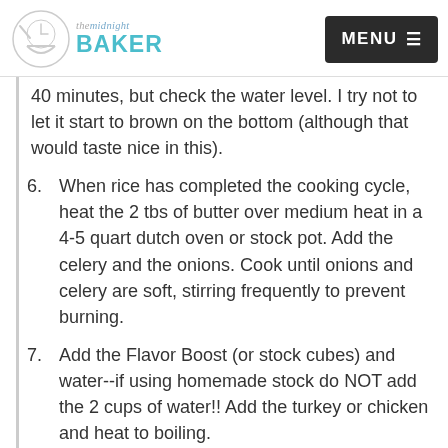the midnight BAKER | MENU
40 minutes, but check the water level. I try not to let it start to brown on the bottom (although that would taste nice in this).
6. When rice has completed the cooking cycle, heat the 2 tbs of butter over medium heat in a 4-5 quart dutch oven or stock pot. Add the celery and the onions. Cook until onions and celery are soft, stirring frequently to prevent burning.
7. Add the Flavor Boost (or stock cubes) and water--if using homemade stock do NOT add the 2 cups of water!! Add the turkey or chicken and heat to boiling.
8. Add the cooked brown rice and carrots,